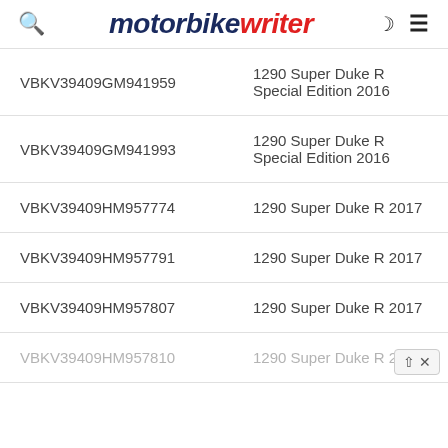motorbike writer
| VIN | Model |
| --- | --- |
| VBKV39409GM941959 | 1290 Super Duke R Special Edition 2016 |
| VBKV39409GM941993 | 1290 Super Duke R Special Edition 2016 |
| VBKV39409HM957774 | 1290 Super Duke R 2017 |
| VBKV39409HM957791 | 1290 Super Duke R 2017 |
| VBKV39409HM957807 | 1290 Super Duke R 2017 |
| VBKV39409HM957810 | 1290 Super Duke R 2017 |